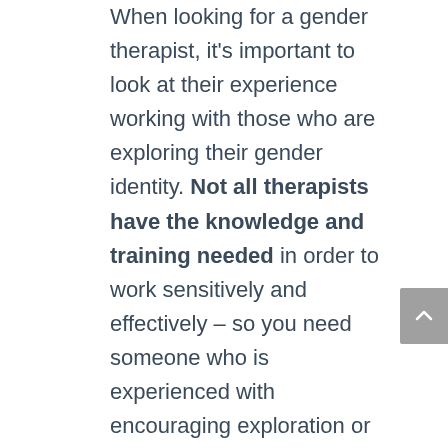When looking for a gender therapist, it's important to look at their experience working with those who are exploring their gender identity. Not all therapists have the knowledge and training needed in order to work sensitively and effectively – so you need someone who is experienced with encouraging exploration or assessing your needs as they relate specifically to gender dysphoria.
If you're looking for a therapist who specializes in working with those who experience gender dysphoria, please reach out to our team here at HWP. We have extensive experience helping folks work through their feelings and offer a free phone...